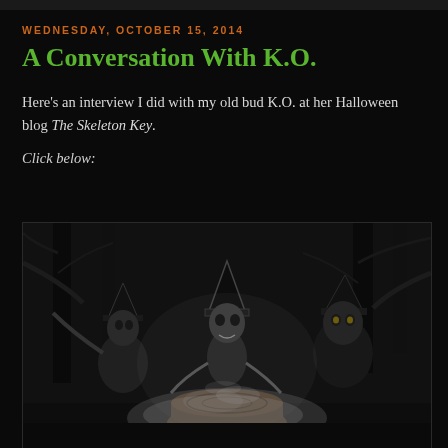WEDNESDAY, OCTOBER 15, 2014
A Conversation With K.O.
Here's an interview I did with my old bud K.O. at her Halloween blog The Skeleton Key.
Click below:
[Figure (photo): Black and white photo of Halloween skeleton and scarecrow figures wearing witch hats, gathered around a stump with mist/smoke, set in a dark forest scene.]